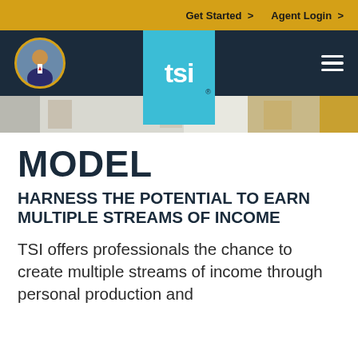Get Started >   Agent Login >
[Figure (logo): TSI logo on light blue background with circular profile photo of a man in a suit on the left and hamburger menu on the right, on dark navy navigation bar]
[Figure (photo): Partial hero image showing people in professional attire]
MODEL
HARNESS THE POTENTIAL TO EARN MULTIPLE STREAMS OF INCOME
TSI offers professionals the chance to create multiple streams of income through personal production and